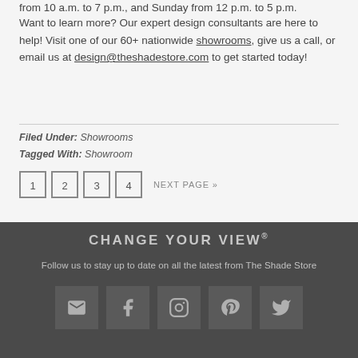from 10 a.m. to 7 p.m., and Sunday from 12 p.m. to 5 p.m.
Want to learn more? Our expert design consultants are here to help! Visit one of our 60+ nationwide showrooms, give us a call, or email us at design@theshadestore.com to get started today!
Filed Under: Showrooms
Tagged With: Showroom
1 2 3 4 NEXT PAGE »
CHANGE YOUR VIEW®
Follow us to stay up to date on all the latest from The Shade Store
[Figure (other): Social media icons: email, facebook, instagram, pinterest, twitter]